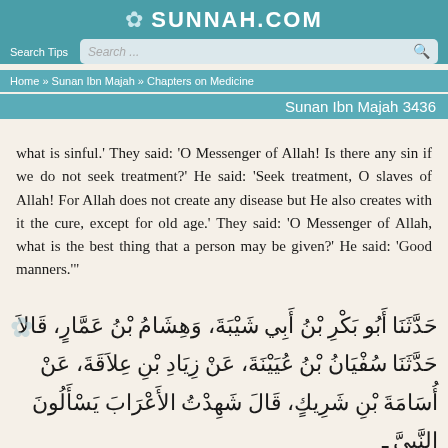SUNNAH.COM
Search Tips  Search ...
Home » Sunan Ibn Majah » Chapters on Medicine
Sunan Ibn Majah 3436
what is sinful.' They said: 'O Messenger of Allah! Is there any sin if we do not seek treatment?' He said: 'Seek treatment, O slaves of Allah! For Allah does not create any disease but He also creates with it the cure, except for old age.' They said: 'O Messenger of Allah, what is the best thing that a person may be given?' He said: 'Good manners.'"
حَدَّثَنَا أَبُو بَكْرِ بْنُ أَبِي شَيْبَةَ، وَهِشَامُ بْنُ عَمَّارٍ، قَالاَ حَدَّثَنَا سُفْيَانُ بْنُ عُيَيْنَةَ، عَنْ زِيَادِ بْنِ عِلاَقَةَ، عَنْ أُسَامَةَ بْنِ شَرِيكٍ، قَالَ شَهِدْتُ الأَعْرَابَ يَسْأَلُونَ النَّبِيَّ -